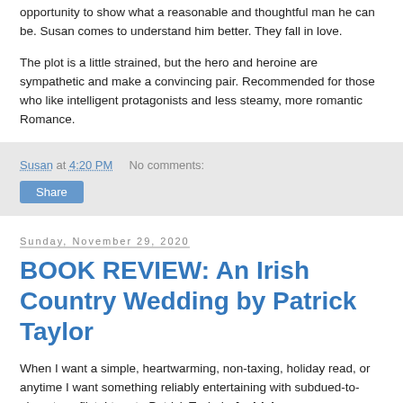opportunity to show what a reasonable and thoughtful man he can be. Susan comes to understand him better. They fall in love.
The plot is a little strained, but the hero and heroine are sympathetic and make a convincing pair. Recommended for those who like intelligent protagonists and less steamy, more romantic Romance.
Susan at 4:20 PM    No comments:
Share
Sunday, November 29, 2020
BOOK REVIEW: An Irish Country Wedding by Patrick Taylor
When I want a simple, heartwarming, non-taxing, holiday read, or anytime I want something reliably entertaining with subdued-to-absent conflict, I turn to Patrick Taylor's An Irish